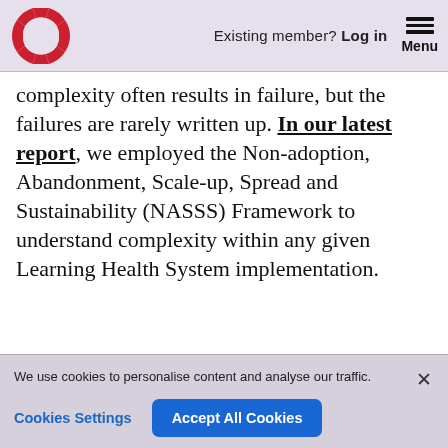Existing member? Log in  Menu
complexity often results in failure, but the failures are rarely written up. In our latest report, we employed the Non-adoption, Abandonment, Scale-up, Spread and Sustainability (NASSS) Framework to understand complexity within any given Learning Health System implementation.
We use cookies to personalise content and analyse our traffic.
Cookies Settings  Accept All Cookies